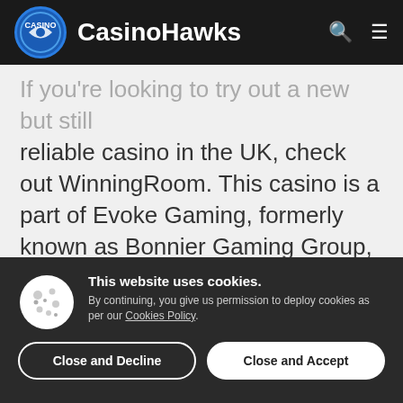CasinoHawks
If you're looking to try out a new but still reliable casino in the UK, check out WinningRoom. This casino is a part of Evoke Gaming, formerly known as Bonnier Gaming Group, which has been operating since 2002 and therefore has built a very strong reputation and is very respected in the iGaming industry. WinningRoom casino is very well known in the Nordic markets
This website uses cookies. By continuing, you give us permission to deploy cookies as per our Cookies Policy.
Close and Decline
Close and Accept